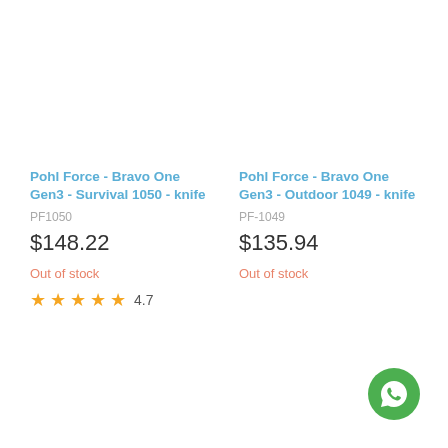Pohl Force - Bravo One Gen3 - Survival 1050 - knife
PF1050
$148.22
Out of stock
4.7
Pohl Force - Bravo One Gen3 - Outdoor 1049 - knife
PF-1049
$135.94
Out of stock
[Figure (logo): WhatsApp logo button — green circle with white phone/chat icon]